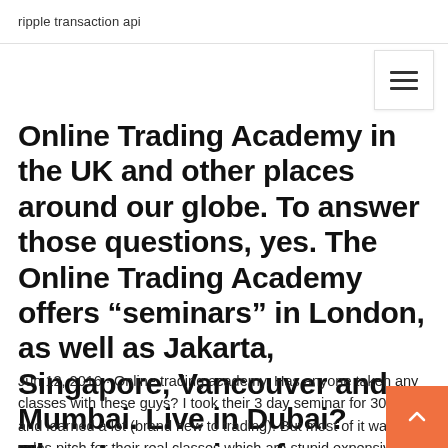ripple transaction api
Online Trading Academy in the UK and other places around our globe. To answer those questions, yes. The Online Trading Academy offers “seminars” in London, as well as Jakarta, Singapore, Vancouver and Mumbai. Live in Dubai? There’s a seminar for you.
Jun 12, 2016 · Online trading academy. Has anyone taken any classes with these guys? I took their 3 day seminar for 300$ and learned a lot (brand new to trading). But most of it was a sales pitch for their real classes which are stupid expensive.